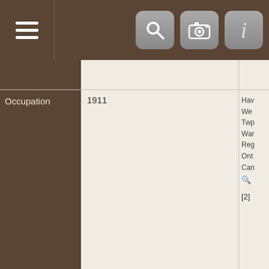[Figure (screenshot): Navigation bar with hamburger menu icon on the left and three icon buttons (search, camera, info) on the right, dark brown background]
| Field | Year / Value | Source |
| --- | --- | --- |
|  | 1911 | Twp
War
Reg
Ont
Can
🔍 |
| Occupation | 1911

Farmer | Hav
We
Twp
War
Reg
Ont
Can
🔍
[2] |
| Residence | 1911 | Hav
We
Twp
War
Reg
Ont |